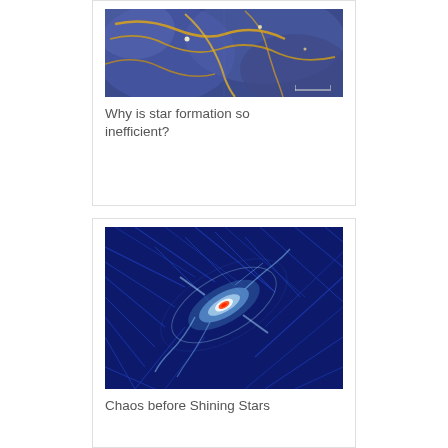[Figure (photo): False-color astronomical image showing star-forming regions with golden/yellow filaments and structures against a blue-purple nebula background]
Why is star formation so inefficient?
[Figure (photo): Scientific visualization of a galaxy or nebula showing magnetic field lines as blue streaks with a bright white glowing structure and red hot center region against a dark blue background]
Chaos before Shining Stars